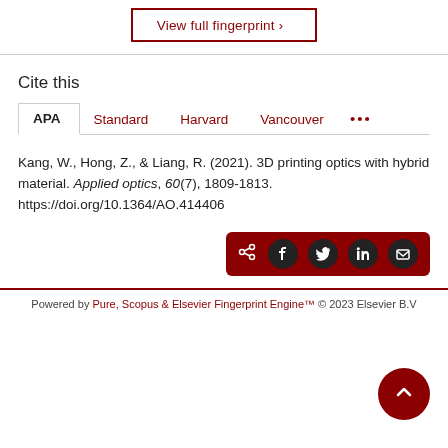[Figure (other): View full fingerprint button with dark red border]
Cite this
[Figure (other): Citation style tabs: APA (active), Standard, Harvard, Vancouver, ...]
Kang, W., Hong, Z., & Liang, R. (2021). 3D printing optics with hybrid material. Applied optics, 60(7), 1809-1813. https://doi.org/10.1364/AO.414406
[Figure (other): Share bar with share, Facebook, Twitter, LinkedIn, email icons on dark red background]
Powered by Pure, Scopus & Elsevier Fingerprint Engine™ © 2023 Elsevier B.V